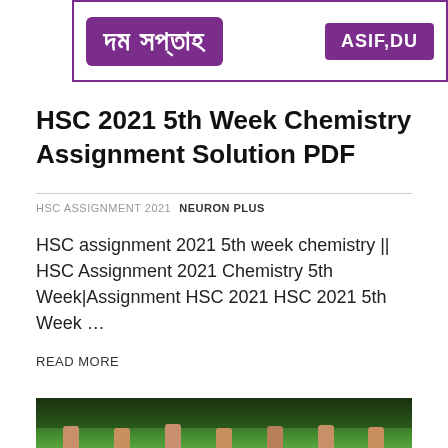[Figure (logo): Banner with purple/violet background showing Bengali text on the left side and 'ASIF,DU' text on the right side, both in white on purple rounded rectangles, within a purple-bordered frame.]
HSC 2021 5th Week Chemistry Assignment Solution PDF
HSC ASSIGNMENT 2021   NEURON PLUS
HSC assignment 2021 5th week chemistry || HSC Assignment 2021 Chemistry 5th Week|Assignment HSC 2021 HSC 2021 5th Week …
READ MORE
[Figure (photo): Students outdoors raising hands in a V-sign victory gesture, with green trees and foliage in the background.]